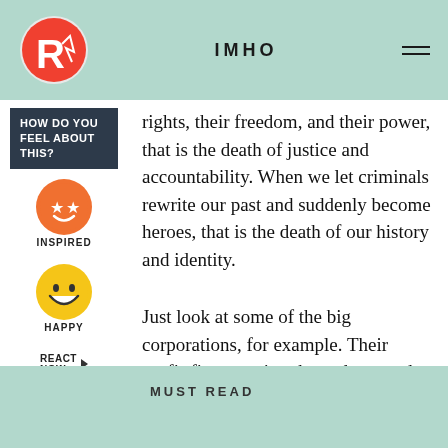IMHO
rights, their freedom, and their power, that is the death of justice and accountability. When we let criminals rewrite our past and suddenly become heroes, that is the death of our history and identity.
Just look at some of the big corporations, for example. Their profit-first practices have destroyed forests, polluted oceans and rivers, and ruined many communities. But because our leaders let them get away with their actions, we see the same issues repeat over and over again.
MUST READ